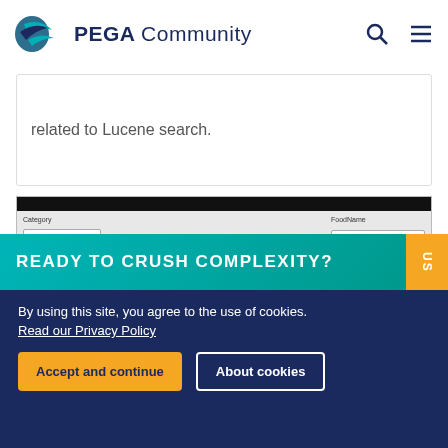PEGA Community
related to Lucene search.
[Figure (screenshot): A UI screenshot showing a Category dropdown set to 'Beverages' and a FoodName dropdown with an open list showing items: Select a Food Item (highlighted), Apple, Banana, Biscuits, Coffee, Tea]
READY TO CRUSH COMPLEXITY?
By using this site, you agree to the use of cookies. Read our Privacy Policy
Accept and continue   About cookies